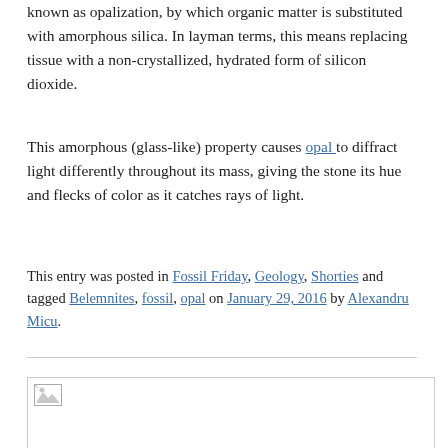known as opalization, by which organic matter is substituted with amorphous silica. In layman terms, this means replacing tissue with a non-crystallized, hydrated form of silicon dioxide.
This amorphous (glass-like) property causes opal to diffract light differently throughout its mass, giving the stone its hue and flecks of color as it catches rays of light.
This entry was posted in Fossil Friday, Geology, Shorties and tagged Belemnites, fossil, opal on January 29, 2016 by Alexandru Micu.
[Figure (other): Broken/unloaded image placeholder at bottom of page, showing a small broken image icon in the top-left corner of a bordered rectangle.]